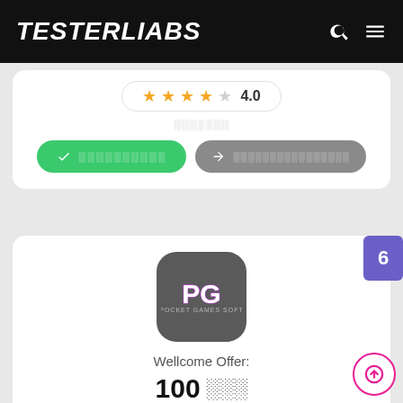TesterLiabs
[Figure (logo): PG Pocket Games Soft logo on dark rounded square background]
Wellcome Offer:
100 [Thai text]
[Thai text line 1]
[Thai text condition] 49 [Thai] 5X
4.0